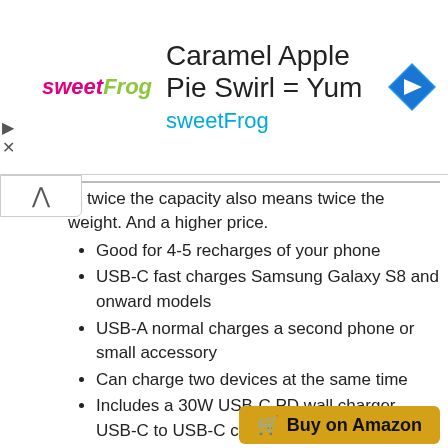[Figure (other): Ad banner for sweetFrog yogurt shop: logo on left, title 'Caramel Apple Pie Swirl = Yum', subtitle 'sweetFrog', navigation icon on right]
ut twice the capacity also means twice the weight. And a higher price.
Good for 4-5 recharges of your phone
USB-C fast charges Samsung Galaxy S8 and onward models
USB-A normal charges a second phone or small accessory
Can charge two devices at the same time
Includes a 30W USB-C PD wall charger, USB-C to USB-C cable, and travel pouch
Wall charger will recharge both power bank and Samsung phones fast
Dimensions: 6.6 x 2.4 x 0.9 inches | 12...